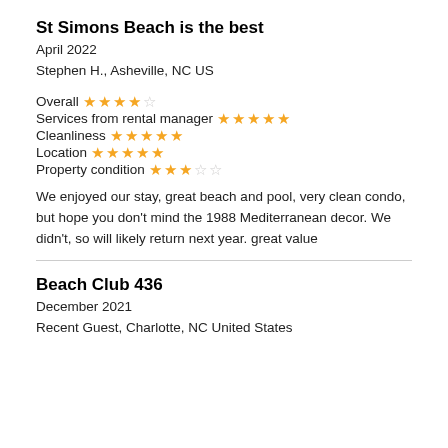St Simons Beach is the best
April 2022
Stephen H., Asheville, NC US
Overall ★★★★☆
Services from rental manager ★★★★★
Cleanliness ★★★★★
Location ★★★★★
Property condition ★★★☆☆
We enjoyed our stay, great beach and pool, very clean condo, but hope you don't mind the 1988 Mediterranean decor. We didn't, so will likely return next year. great value
Beach Club 436
December 2021
Recent Guest, Charlotte, NC United States